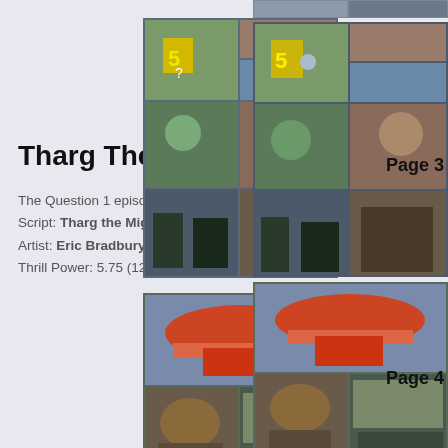Tharg The Mighty
The Question 1 episode (Prog 749)
Script: Tharg the Mighty,
Artist: Eric Bradbury
Thrill Power: 5.75 (12 votes)
[Figure (photo): Comic page thumbnail strip at top right, partially visible]
[Figure (photo): Comic page 3 thumbnail showing colorful comic panels]
Page 3
[Figure (photo): Comic page 4 thumbnail showing colorful comic panels]
Page 4
[Figure (photo): Comic page 5 thumbnail showing colorful comic panels]
Page 5
[Figure (photo): Comic page 6 thumbnail showing colorful comic panels, partially visible]
Page 6